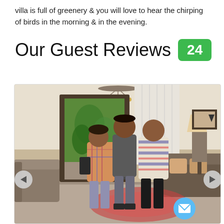villa is full of greenery & you will love to hear the chirping of birds in the morning & in the evening.
Our Guest Reviews  24
[Figure (photo): Three people (a woman in a plaid shirt, a tall young man with a backpack, and a bald man in a striped shirt) standing inside a villa living room with an open glass door showing greenery outside, a sofa, lamp, and framed picture on the wall. A blue email FAB button and navigation arrows are visible.]